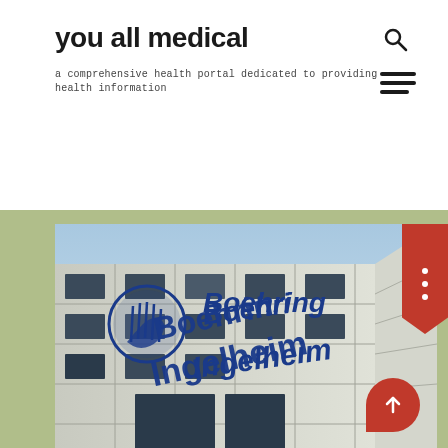you all medical
a comprehensive health portal dedicated to providing health information
[Figure (photo): Boehringer Ingelheim building exterior with company logo and name on facade]
in less than a year since the last debt financing, click therapeutics, a digital therapy start-up, recently announced that it had obtained a round b financing of us $52 million. this round of financing is jointly led by new investors h.i.g. biohealth partners and accelme